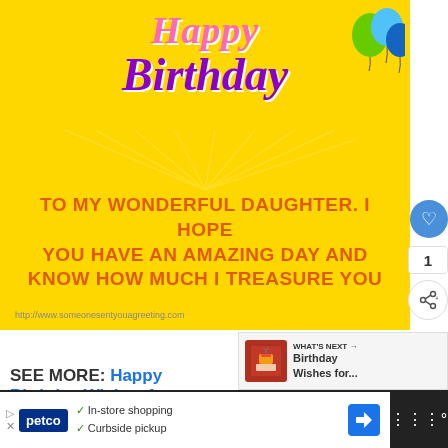[Figure (illustration): Birthday greeting card with yellow background, 'Happy Birthday' text in pink and purple, colorful balloons, rays of light, and message 'TO MY WONDERFUL DAUGHTER. I HOPE YOU HAVE AN AMAZING DAY AND KNOW HOW MUCH I TREASURE YOU' in orange. URL: http://www.someonesentyouagreeting.com]
WHAT'S NEXT → Birthday Wishes for...
SEE MORE: Happy Birthday Wishes for Niece
[Figure (screenshot): Advertisement banner for Petco showing in-store shopping and curbside pickup options]